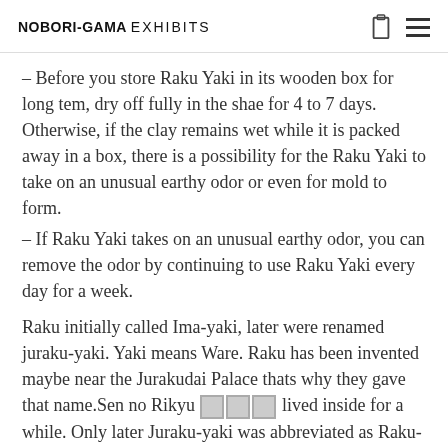NOBORI-GAMA EXHIBITS
– Before you store Raku Yaki in its wooden box for long tem, dry off fully in the shae for 4 to 7 days. Otherwise, if the clay remains wet while it is packed away in a box, there is a possibility for the Raku Yaki to take on an unusual earthy odor or even for mold to form.
– If Raku Yaki takes on an unusual earthy odor, you can remove the odor by continuing to use Raku Yaki every day for a week.
Raku initially called Ima-yaki, later were renamed juraku-yaki. Yaki means Ware. Raku has been invented maybe near the Jurakudai Palace thats why they gave that name.Sen no Rikyu [kanji] lived inside for a while. Only later Juraku-yaki was abbreviated as Raku-yaki. Tanaka Chōjirō (????) created a new way to make pottery